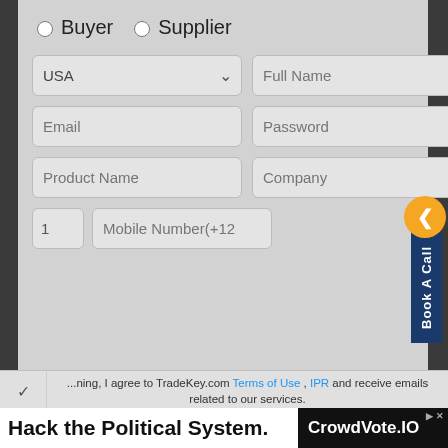[Figure (screenshot): A web registration form with radio buttons for Buyer/Supplier, dropdown for USA, and fields for Full Name, Email, Password, Product Name, Company, and Mobile Number. A 'Book A Call' side tab is visible on the right. Below the form is a terms agreement text with links to Terms of Use and IPR. At the bottom is an advertisement: 'Hack the Political System.' with 'CrowdVote.IO' on the right.]